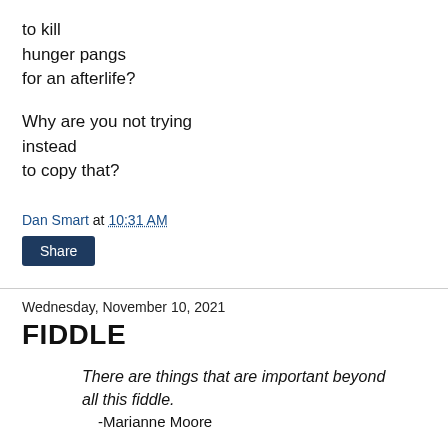to kill
hunger pangs
for an afterlife?

Why are you not trying
instead
to copy that?
Dan Smart at 10:31 AM
Share
Wednesday, November 10, 2021
FIDDLE
There are things that are important beyond all this fiddle.
-Marianne Moore